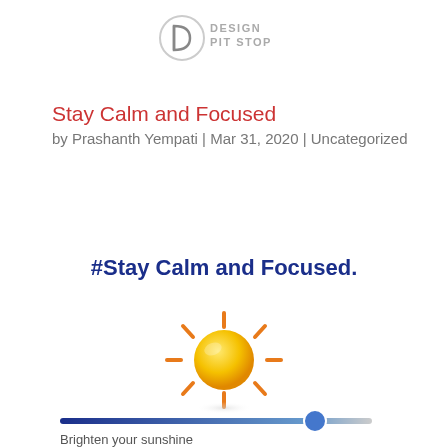[Figure (logo): Design Pit Stop logo — circular icon with D mark and text DESIGN PIT STOP]
Stay Calm and Focused
by Prashanth Yempati | Mar 31, 2020 | Uncategorized
#Stay Calm and Focused.
[Figure (illustration): Yellow sun emoji with orange rays on white background]
[Figure (illustration): Horizontal slider control showing a gradient bar from dark blue to light gray with a blue circle handle near the right end]
Brighten your sunshine